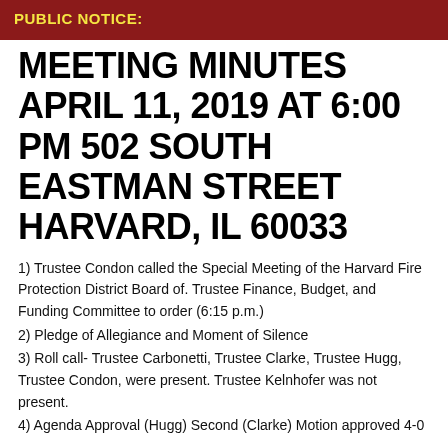PUBLIC NOTICE:
MEETING MINUTES APRIL 11, 2019 AT 6:00 PM 502 SOUTH EASTMAN STREET HARVARD, IL 60033
1) Trustee Condon called the Special Meeting of the Harvard Fire Protection District Board of. Trustee Finance, Budget, and Funding Committee to order (6:15 p.m.)
2) Pledge of Allegiance and Moment of Silence
3) Roll call- Trustee Carbonetti, Trustee Clarke, Trustee Hugg, Trustee Condon, were present. Trustee Kelnhofer was not present.
4) Agenda Approval (Hugg) Second (Clarke) Motion approved 4-0